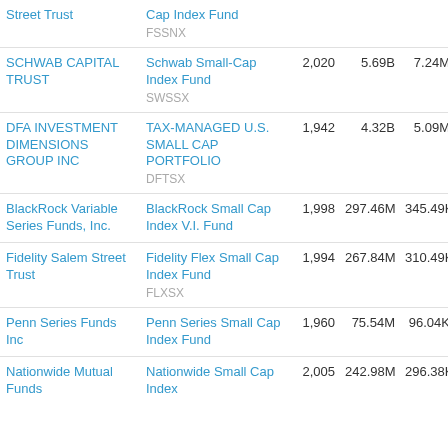| Trust | Fund | Holdings | AUM | Avg Vol | Exp |
| --- | --- | --- | --- | --- | --- |
| Street Trust | Cap Index Fund
FSSNX |  |  |  |  |
| SCHWAB CAPITAL TRUST | Schwab Small-Cap Index Fund
SWSSX | 2,020 | 5.69B | 7.24M | 0.13 |
| DFA INVESTMENT DIMENSIONS GROUP INC | TAX-MANAGED U.S. SMALL CAP PORTFOLIO
DFTSX | 1,942 | 4.32B | 5.09M | 0.13 |
| BlackRock Variable Series Funds, Inc. | BlackRock Small Cap Index V.I. Fund | 1,998 | 297.46M | 345.49K | 0.13 |
| Fidelity Salem Street Trust | Fidelity Flex Small Cap Index Fund
FLXSX | 1,994 | 267.84M | 310.49K | 0.13 |
| Penn Series Funds Inc | Penn Series Small Cap Index Fund | 1,960 | 75.54M | 96.04K | 0.13 |
| Nationwide Mutual Funds | Nationwide Small Cap Index | 2,005 | 242.98M | 296.38K | 0.13 |